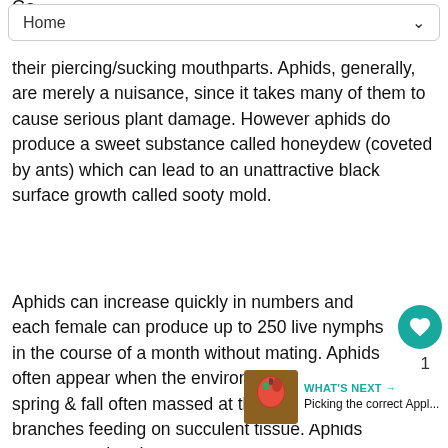Home
their piercing/sucking mouthparts. Aphids, generally, are merely a nuisance, since it takes many of them to cause serious plant damage. However aphids do produce a sweet substance called honeydew (coveted by ants) which can lead to an unattractive black surface growth called sooty mold.
Aphids can increase quickly in numbers and each female can produce up to 250 live nymphs in the course of a month without mating. Aphids often appear when the environment changes - spring & fall often massed at the tips of branches feeding on succulent tissue. Aphids are attracted to the